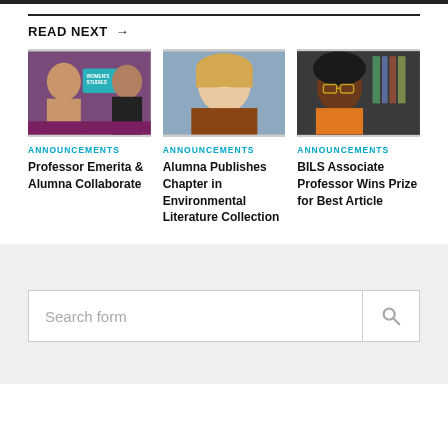READ NEXT →
[Figure (photo): Two women, one holding a Women's Studies book cover, academic setting]
ANNOUNCEMENTS
Professor Emerita & Alumna Collaborate
[Figure (photo): Blonde woman smiling, professional headshot with blue background]
ANNOUNCEMENTS
Alumna Publishes Chapter in Environmental Literature Collection
[Figure (photo): Woman with glasses and natural hair smiling, bookshelf in background]
ANNOUNCEMENTS
BILS Associate Professor Wins Prize for Best Article
Search form